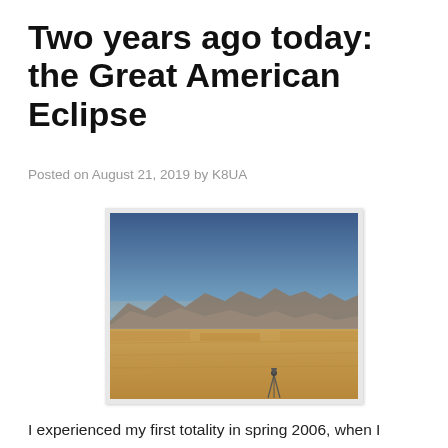Two years ago today: the Great American Eclipse
Posted on August 21, 2019 by K8UA
[Figure (photo): Desert landscape with mountains in the background under a blue sky, with a tripod visible in the foreground. Dry golden grassland in the midground.]
I experienced my first totality in spring 2006, when I organized an expedition to the Mediterranean coast of Turkey for a group of almost 40 fellow amateur